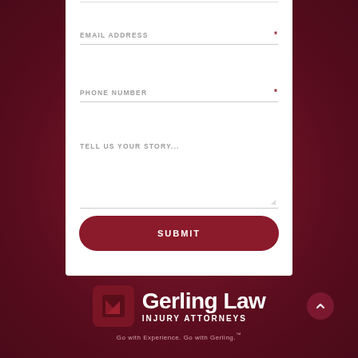EMAIL ADDRESS *
PHONE NUMBER *
TELL US YOUR STORY...
SUBMIT
[Figure (logo): Gerling Law Injury Attorneys logo with dark red square icon and white text. Tagline: Go with Experience. Go with Gerling.]